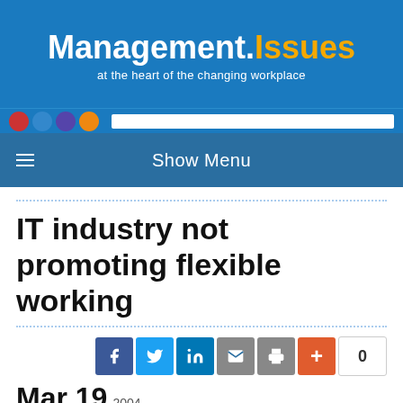Management.Issues — at the heart of the changing workplace
Show Menu
IT industry not promoting flexible working
Mar 19 2004